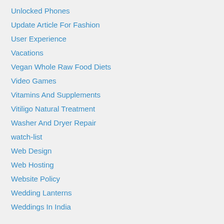Unlocked Phones
Update Article For Fashion
User Experience
Vacations
Vegan Whole Raw Food Diets
Video Games
Vitamins And Supplements
Vitiligo Natural Treatment
Washer And Dryer Repair
watch-list
Web Design
Web Hosting
Website Policy
Wedding Lanterns
Weddings In India